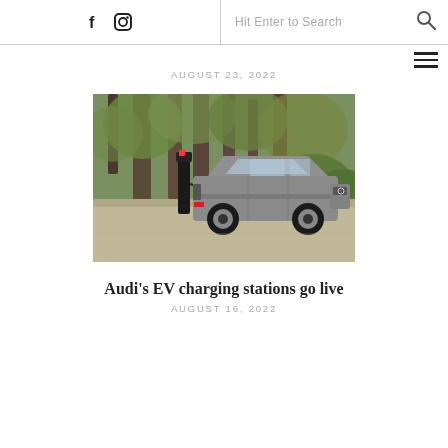f [instagram] Hit Enter to Search [search icon] [menu]
AUGUST 23, 2022
[Figure (photo): An Audi electric SUV plugged into a charging station in a wooded parking area with tall trees and green foliage in the background.]
Audi's EV charging stations go live
AUGUST 16, 2022